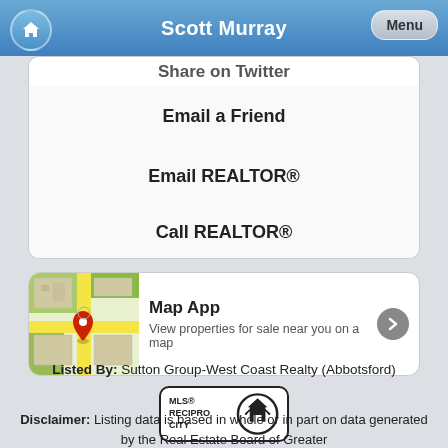Scott Murray
Share on Twitter (partially visible)
Email a Friend
Email REALTOR®
Call REALTOR®
[Figure (screenshot): Map App card with map thumbnail showing streets and a red pin, title 'Map App', description 'View properties for sale near you on a map', and a right-arrow button]
[Figure (logo): MLS® RECIPROCITY logo with house icon in circular border]
Listed By: Sutton Group-West Coast Realty (Abbotsford)
Disclaimer: Listing data is based in whole or in part on data generated by the Real Estate Board of Greater